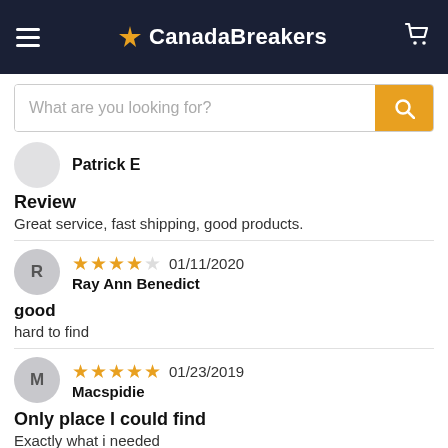CanadaBreakers
What are you looking for?
Patrick E
Review
Great service, fast shipping, good products.
4 stars  01/11/2020
Ray Ann Benedict
good
hard to find
5 stars  01/23/2019
Macspidie
Only place I could find
Exactly what i needed